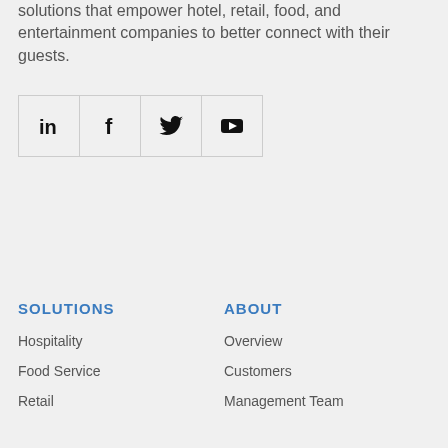solutions that empower hotel, retail, food, and entertainment companies to better connect with their guests.
[Figure (other): Social media icons grid: LinkedIn, Facebook, Twitter, YouTube]
SOLUTIONS
ABOUT
Hospitality
Overview
Food Service
Customers
Retail
Management Team